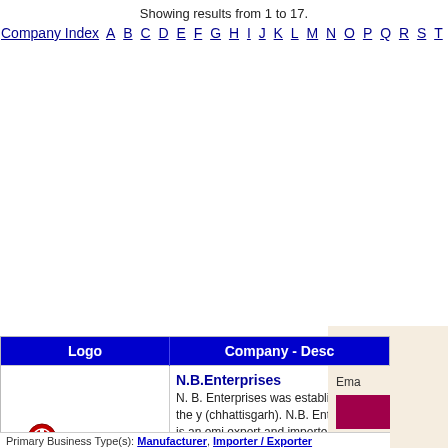Showing results from 1 to 17.
Company Index A B C D E F G H I J K L M N O P Q R S T U V W X Y Z 0 1
| Logo | Company - Desc |
| --- | --- |
| N.B.ENTERPRISES logo | N.B.Enterprises
N. B. Enterprises was established in the y (chhattisgarh). N.B. Enterprises is an emi export and importer of varied products. O of Industrial chemicals, Industrial Miner...
Member since 13 August, 2014, India - Chha |
Primary Business Type(s): Manufacturer, Importer / Exporter